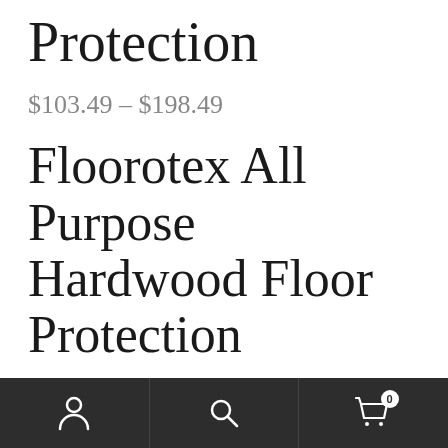Protection
$103.49 – $198.49
Floorotex All Purpose Hardwood Floor Protection
Our All Purpose breathable floor protection can be used to protect hard surface and other types of flooring
Navigation bar with person icon, search icon, and cart icon with badge 0